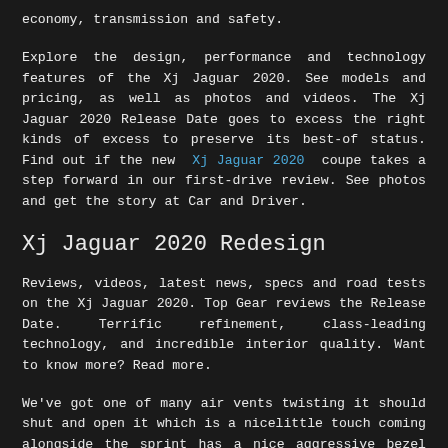economy, transmission and safety.
Explore the design, performance and technology features of the Xj Jaguar 2020. See models and pricing, as well as photos and videos. The Xj Jaguar 2020 Release Date goes to excess the right kinds of excess to preserve its best-of status. Find out if the new Xj Jaguar 2020 coupe takes a step forward in our first-drive review. See photos and get the story at Car and Driver.
Xj Jaguar 2020 Redesign
Reviews, videos, latest news, specs and road tests on the Xj Jaguar 2020. Top Gear reviews the Release Date. Terrific refinement, class-leading technology, and incredible interior quality. Want to know more? Read more.
We've got one of many air vents twisting it should shut and open it which is a nicelittle touch coming alongside the sprint has a nice aggressive bezel above the gauges very clean looking – tremendous minimalistic you've some black